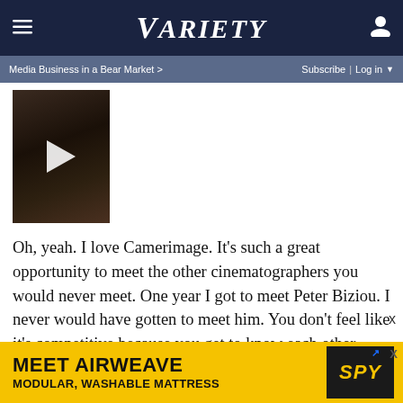Variety
Media Business in a Bear Market >   Subscribe | Log in
[Figure (photo): Video thumbnail showing a person bowing their head, with a white play button overlay, dark background]
Oh, yeah. I love Camerimage. It's such a great opportunity to meet the other cinematographers you would never meet. One year I got to meet Peter Biziou. I never would have gotten to meet him. You don't feel like it's competitive because you get to know each other. You're there for a week and you go to the same movies, go to the same parties, eat at the same table. S
[Figure (advertisement): Ad banner for Airweave: MEET AIRWEAVE / MODULAR, WASHABLE MATTRESS with SPY logo in yellow and black]